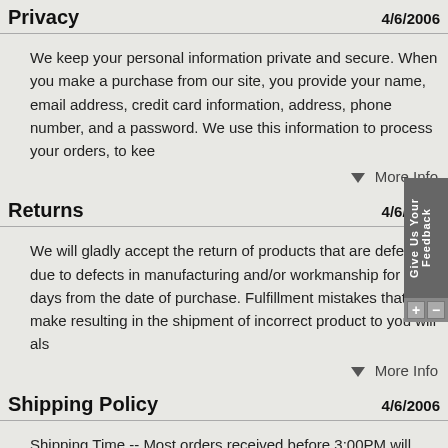Privacy  4/6/2006
We keep your personal information private and secure. When you make a purchase from our site, you provide your name, email address, credit card information, address, phone number, and a password. We use this information to process your orders, to kee
▼ More Info
Returns  4/6/2006
We will gladly accept the return of products that are defective due to defects in manufacturing and/or workmanship for 30 days from the date of purchase. Fulfillment mistakes that we make resulting in the shipment of incorrect product to you will als
▼ More Info
Shipping Policy  4/6/2006
Shipping Time -- Most orders received before 3:00PM will ship the same day, provided the product ordered is in stock. Most orders received after 3:00 PM will ship the next business day. Orders are not